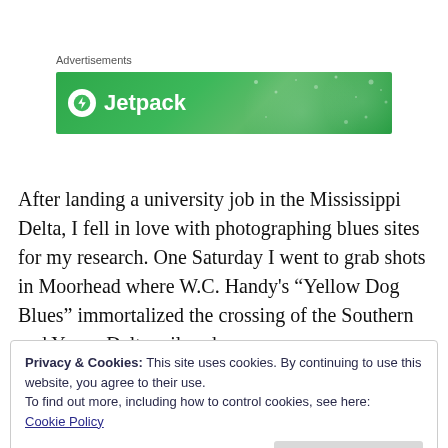Advertisements
[Figure (logo): Jetpack advertisement banner — green gradient background with Jetpack logo and name in white]
After landing a university job in the Mississippi Delta, I fell in love with photographing blues sites for my research. One Saturday I went to grab shots in Moorhead where W.C. Handy’s “Yellow Dog Blues” immortalized the crossing of the Southern and Yazoo Delta railroads.
Privacy & Cookies: This site uses cookies. By continuing to use this website, you agree to their use.
To find out more, including how to control cookies, see here: Cookie Policy
Close and accept